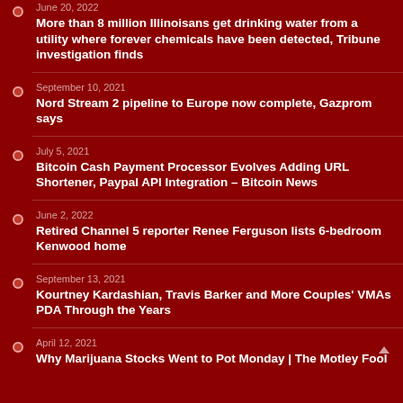June 20, 2022
More than 8 million Illinoisans get drinking water from a utility where forever chemicals have been detected, Tribune investigation finds
September 10, 2021
Nord Stream 2 pipeline to Europe now complete, Gazprom says
July 5, 2021
Bitcoin Cash Payment Processor Evolves Adding URL Shortener, Paypal API Integration – Bitcoin News
June 2, 2022
Retired Channel 5 reporter Renee Ferguson lists 6-bedroom Kenwood home
September 13, 2021
Kourtney Kardashian, Travis Barker and More Couples' VMAs PDA Through the Years
April 12, 2021
Why Marijuana Stocks Went to Pot Monday | The Motley Fool